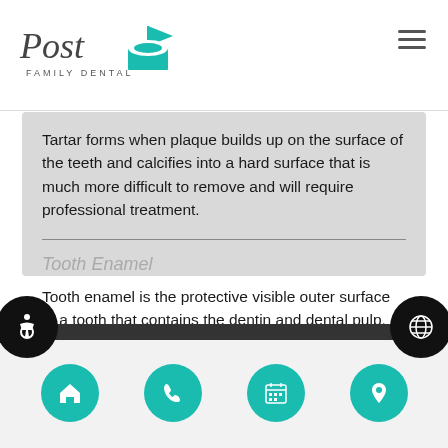Post Family Dental
Tartar forms when plaque builds up on the surface of the teeth and calcifies into a hard surface that is much more difficult to remove and will require professional treatment.
Tooth Enamel
Tooth enamel is the protective visible outer surface of a tooth that contains the dentin and dental pulp.
Navigation: Home, Phone, Calendar, Location